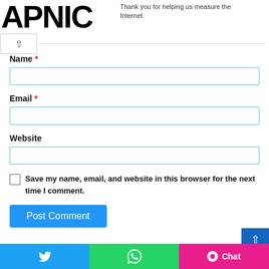[Figure (logo): APNIC logo in bold black text]
Thank you for helping us measure the Internet.
Name *
Email *
Website
Save my name, email, and website in this browser for the next time I comment.
Post Comment
[Figure (screenshot): Bottom social bar with Twitter, WhatsApp, and Chat buttons]